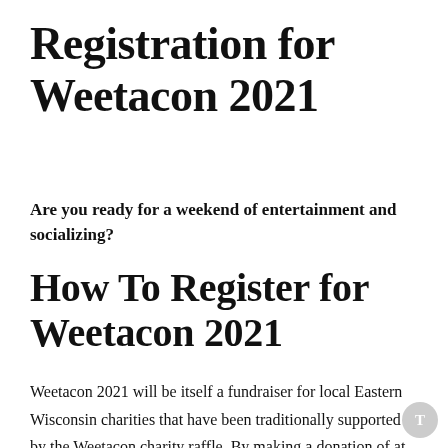Registration for Weetacon 2021
Are you ready for a weekend of entertainment and socializing?
How To Register for Weetacon 2021
Weetacon 2021 will be itself a fundraiser for local Eastern Wisconsin charities that have been traditionally supported by the Weetacon charity raffle. By making a donation of at least $5 to one or one of the charities you will be eligible to...